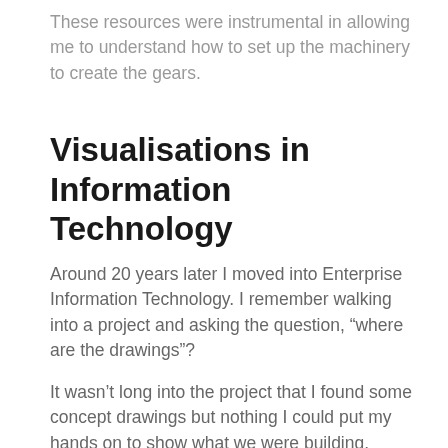These resources were instrumental in allowing me to understand how to set up the machinery to create the gears.
Visualisations in Information Technology
Around 20 years later I moved into Enterprise Information Technology. I remember walking into a project and asking the question, “where are the drawings”?
It wasn’t long into the project that I found some concept drawings but nothing I could put my hands on to show what we were building.